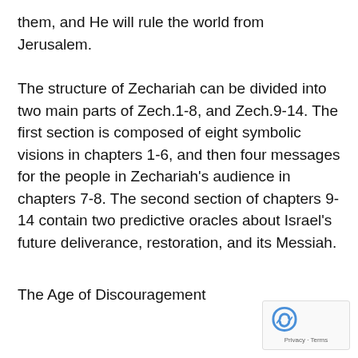them, and He will rule the world from Jerusalem.
The structure of Zechariah can be divided into two main parts of Zech.1-8, and Zech.9-14. The first section is composed of eight symbolic visions in chapters 1-6, and then four messages for the people in Zechariah's audience in chapters 7-8. The second section of chapters 9-14 contain two predictive oracles about Israel's future deliverance, restoration, and its Messiah.
The Age of Discouragement